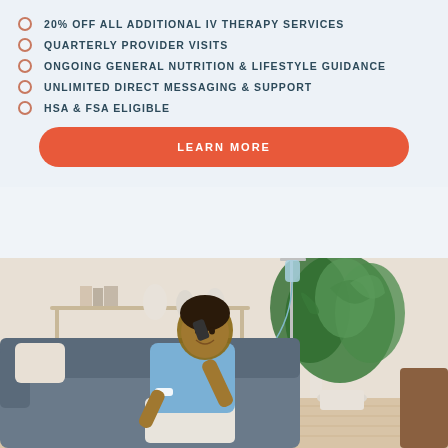20% OFF ALL ADDITIONAL IV THERAPY SERVICES
QUARTERLY PROVIDER VISITS
ONGOING GENERAL NUTRITION & LIFESTYLE GUIDANCE
UNLIMITED DIRECT MESSAGING & SUPPORT
HSA & FSA ELIGIBLE
LEARN MORE
[Figure (photo): Man sitting on a gray couch smiling and talking on his phone, receiving IV therapy with an IV drip stand visible beside him, a large green plant in the background, shelves with decorative items, bright indoor setting.]